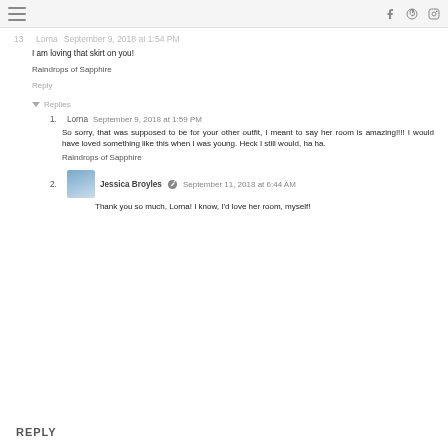13 Lorna September 9, 2018 at 1:54 PM
I am loving that skirt on you!
Raindrops of Sapphire
Reply
Replies
1. Lorna September 9, 2018 at 1:59 PM — So sorry, that was supposed to be for your other outfit, I meant to say her room is amazing!!!! I would have loved something like this when I was young. Heck I still would, ha ha. Raindrops of Sapphire
2. Jessica Broyles September 11, 2018 at 6:44 AM — Thank you so much, Lorna! I know, I'd love her room, myself!
REPLY